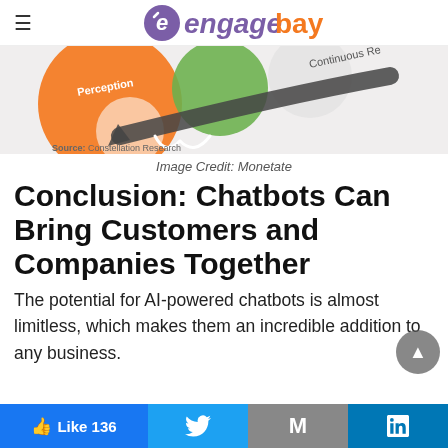≡  engagebay
[Figure (illustration): Partial diagram showing colorful circles (orange, green) with arrows and text 'Perception', 'Continuous Re...' and 'Source: Constellation Research' label at bottom left.]
Image Credit: Monetate
Conclusion: Chatbots Can Bring Customers and Companies Together
The potential for AI-powered chatbots is almost limitless, which makes them an incredible addition to any business.
👍 Like 136  |  Twitter  |  M  |  in